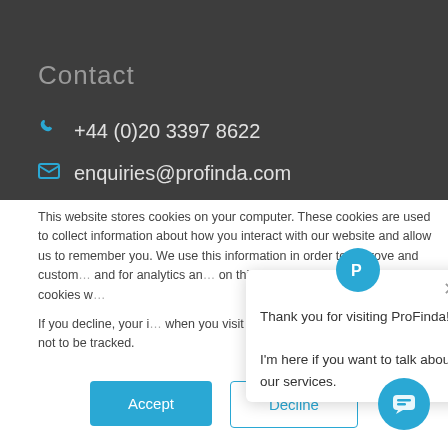Contact
+44 (0)20 3397 8622
enquiries@profinda.com
This website stores cookies on your computer. These cookies are used to collect information about how you interact with our website and allow us to remember you. We use this information in order to improve and customize your browsing experience and for analytics and metrics about our visitors both on this website and other media. To find out more about the cookies we use, see our Privacy Policy.
If you decline, your information won't be tracked when you visit this website. A single cookie will be used in your browser to remember your preference not to be tracked.
[Figure (screenshot): Chat popup with ProFinda logo icon, close button, and message: Thank you for visiting ProFinda! I'm here if you want to talk about our services.]
Accept
Decline